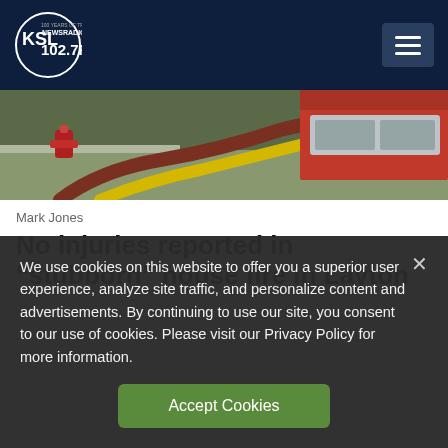KSL NewsRadio 102.7FM
[Figure (photo): Fire hoses and equipment on or near a fire truck, outdoors]
Mark Jones
No injuries reported in “stubborn” house fire in Layton
We use cookies on this website to offer you a superior user experience, analyze site traffic, and personalize content and advertisements. By continuing to use our site, you consent to our use of cookies. Please visit our Privacy Policy for more information.
Accept Cookies